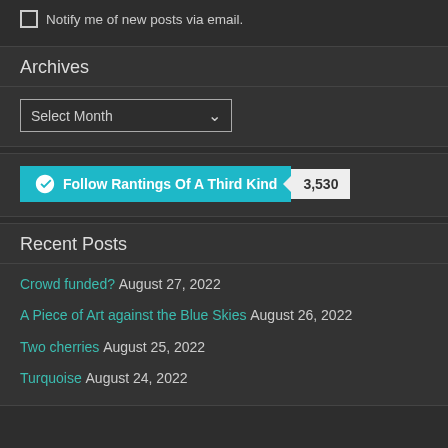Notify me of new posts via email.
Archives
[Figure (screenshot): A dropdown selector labeled 'Select Month' with a chevron arrow on the right]
[Figure (screenshot): WordPress Follow button for 'Rantings Of A Third Kind' with follower count 3,530]
Recent Posts
Crowd funded? August 27, 2022
A Piece of Art against the Blue Skies August 26, 2022
Two cherries August 25, 2022
Turquoise August 24, 2022